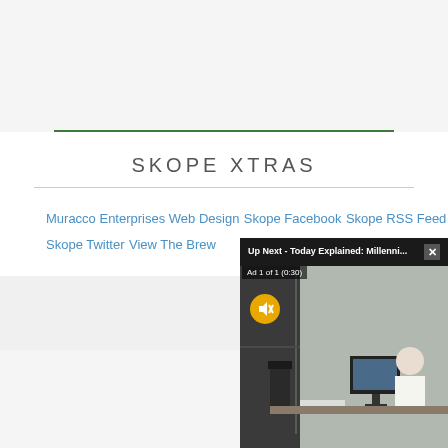SKOPE XTRAS
Muracco Enterprises Web Design
Skope Facebook
Skope RSS Feed
Skope Twitter
View The Brew
[Figure (screenshot): Video overlay popup showing 'Up Next - Today Explained: Millenni...' with a close button (x), an ad label 'Ad 1 of 1 (0:30)', a mute button icon, and a thumbnail of a person working at a computer desk.]